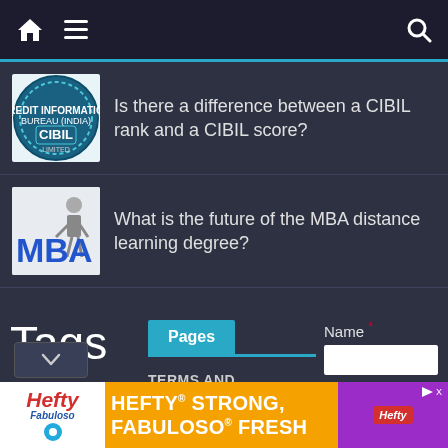Navigation bar with home, menu, and search icons
Is there a difference between a CIBIL rank and a CIBIL score?
What is the future of the MBA distance learning degree?
Tags
Pages
Name *
TERMS AND CONDITIONS
Email *
[Figure (screenshot): CIBIL logo - Credit Information Bureau (India) Limited circular badge]
[Figure (screenshot): MBA distance learning illustration with figure and blue MBA text]
[Figure (screenshot): Hefty advertisement banner - HEFTY STRONG, FABULOSO FRESH]